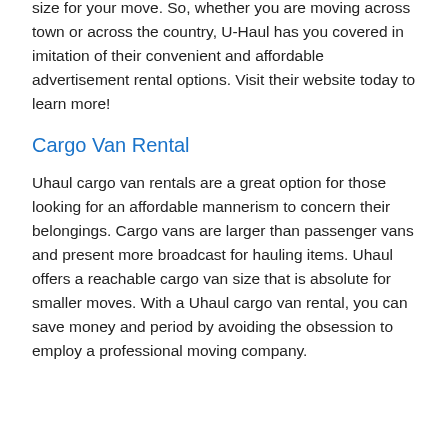size for your move. So, whether you are moving across town or across the country, U-Haul has you covered in imitation of their convenient and affordable advertisement rental options. Visit their website today to learn more!
Cargo Van Rental
Uhaul cargo van rentals are a great option for those looking for an affordable mannerism to concern their belongings. Cargo vans are larger than passenger vans and present more broadcast for hauling items. Uhaul offers a reachable cargo van size that is absolute for smaller moves. With a Uhaul cargo van rental, you can save money and period by avoiding the obsession to employ a professional moving company.